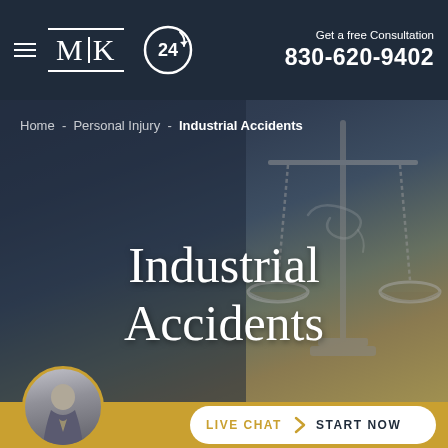MK  24  Get a free Consultation 830-620-9402
Home - Personal Injury - Industrial Accidents
Industrial Accidents
[Figure (screenshot): Hero background image showing blurred legal scale of justice and documents with a dark blue-gray overlay]
LIVE CHAT  START NOW